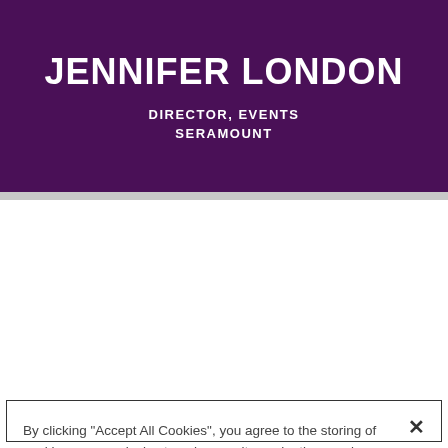JENNIFER LONDON
DIRECTOR, EVENTS
SERAMOUNT
By clicking "Accept All Cookies", you agree to the storing of cookies on your device to enhance site navigation, analyze site usage, and assist in our marketing efforts.
Cookies Settings
Reject All
Accept All Cookies